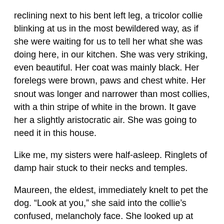reclining next to his bent left leg, a tricolor collie blinking at us in the most bewildered way, as if she were waiting for us to tell her what she was doing here, in our kitchen. She was very striking, even beautiful. Her coat was mainly black. Her forelegs were brown, paws and chest white. Her snout was longer and narrower than most collies, with a thin stripe of white in the brown. It gave her a slightly aristocratic air. She was going to need it in this house.
Like me, my sisters were half-asleep. Ringlets of damp hair stuck to their necks and temples.
Maureen, the eldest, immediately knelt to pet the dog. “Look at you,” she said into the collie’s confused, melancholy face. She looked up at Mom. “Where’d she come from?”
“Your father brought her home from a bar. Where else? Who wants coffee?”